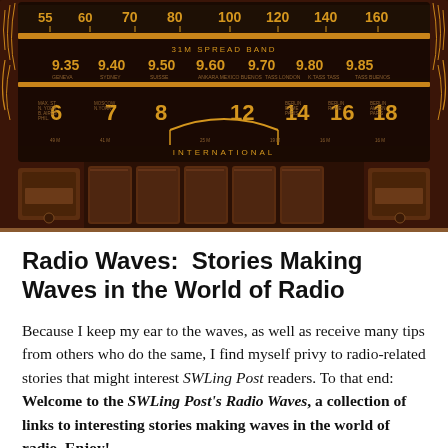[Figure (photo): Close-up photograph of a vintage shortwave radio dial/tuner face, showing frequency scales including numbers 55, 60, 70, 80, 100, 120, 140, 160 and 9.35, 9.40, 9.50, 9.60, 9.70, 9.80, 9.85, with station names, and a row of brown/copper push buttons along the bottom. The radio face is dark brown with orange/amber lettering.]
Radio Waves:  Stories Making Waves in the World of Radio
Because I keep my ear to the waves, as well as receive many tips from others who do the same, I find myself privy to radio-related stories that might interest SWLing Post readers. To that end: Welcome to the SWLing Post's Radio Waves, a collection of links to interesting stories making waves in the world of radio. Enjoy!